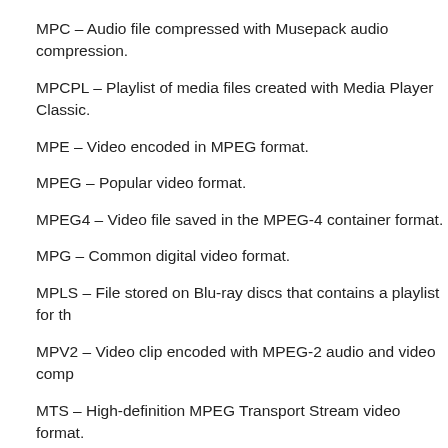MPC – Audio file compressed with Musepack audio compression.
MPCPL – Playlist of media files created with Media Player Classic.
MPE – Video encoded in MPEG format.
MPEG – Popular video format.
MPEG4 – Video file saved in the MPEG-4 container format.
MPG – Common digital video format.
MPLS – File stored on Blu-ray discs that contains a playlist for th…
MPV2 – Video clip encoded with MPEG-2 audio and video comp…
MTS – High-definition MPEG Transport Stream video format.
O
OFR – Audio file compressed with OptimFROG.